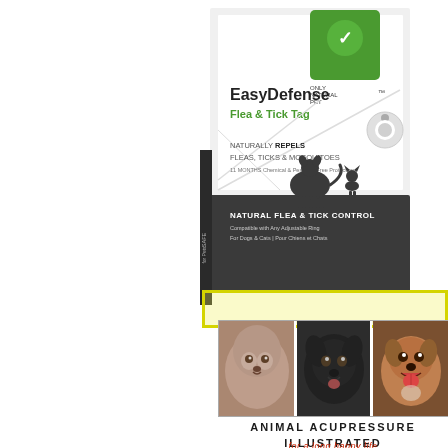[Figure (photo): EasyDefense Flea & Tick Tag product box. White and dark grey packaging with green brand logo at top. Text reads: EasyDefense Flea & Tick Tag, NATURALLY REPELS FLEAS, TICKS & MOSQUITOES, 11 MONTHS Chemical & Pesticide Free Protection, NATURAL FLEA & TICK CONTROL, Compatible with Any Adjustable Ring For Dogs & Cats. Features silhouettes of a dog and cat.]
[Figure (photo): Three dog portrait photos side by side: a fluffy light-colored small dog, a black medium-sized dog, and a brown/tan dog with mouth open.]
ANIMAL ACUPRESSURE ILLUSTRATED THE DOG
for a long happy life